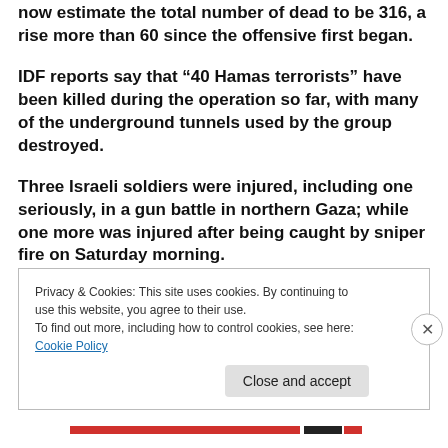The latest figures reported by health officials in Gaza, now estimate the total number of dead to be 316, a rise more than 60 since the offensive first began.
IDF reports say that “40 Hamas terrorists” have been killed during the operation so far, with many of the underground tunnels used by the group destroyed.
Three Israeli soldiers were injured, including one seriously, in a gun battle in northern Gaza; while one more was injured after being caught by sniper fire on Saturday morning.
Privacy & Cookies: This site uses cookies. By continuing to use this website, you agree to their use.
To find out more, including how to control cookies, see here: Cookie Policy